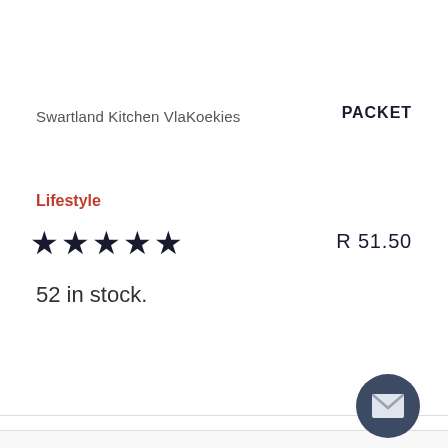Swartland Kitchen VlaKoekies
PACKET
Lifestyle
★★★★★
R 51.50
52 in stock.
[Figure (illustration): Dark circular button with white envelope/mail icon]